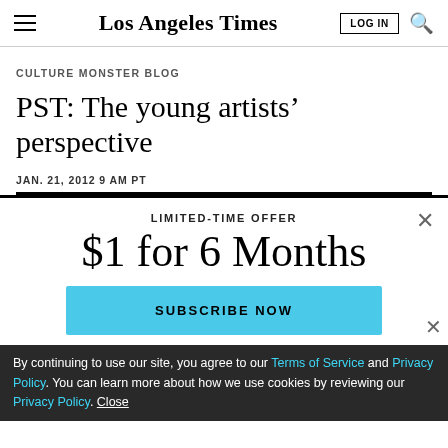Los Angeles Times
CULTURE MONSTER BLOG
PST: The young artists’ perspective
JAN. 21, 2012 9 AM PT
LIMITED-TIME OFFER
$1 for 6 Months
SUBSCRIBE NOW
By continuing to use our site, you agree to our Terms of Service and Privacy Policy. You can learn more about how we use cookies by reviewing our Privacy Policy. Close